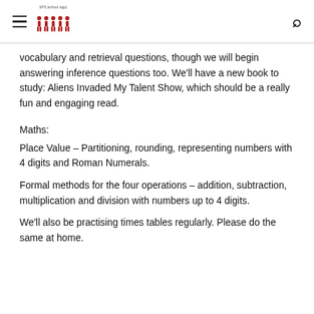SPS [logo]
vocabulary and retrieval questions, though we will begin answering inference questions too. We'll have a new book to study: Aliens Invaded My Talent Show, which should be a really fun and engaging read.
Maths:
Place Value – Partitioning, rounding, representing numbers with 4 digits and Roman Numerals.
Formal methods for the four operations – addition, subtraction, multiplication and division with numbers up to 4 digits.
We'll also be practising times tables regularly. Please do the same at home.